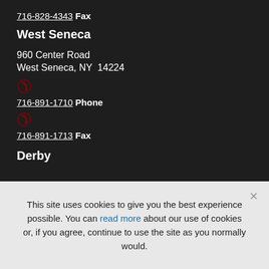716-828-4343 Fax
West Seneca
960 Center Road
West Seneca, NY  14224
716-891-1710 Phone
716-891-1713 Fax
Derby
This site uses cookies to give you the best experience possible. You can read more about our use of cookies or, if you agree, continue to use the site as you normally would.